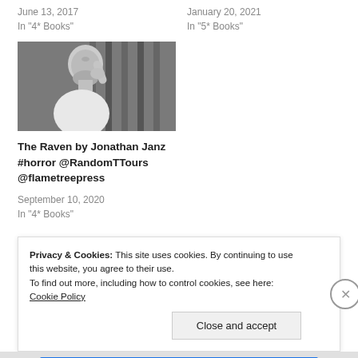June 13, 2017
In "4* Books"
January 20, 2021
In "5* Books"
[Figure (photo): Black and white photo of a bearded man looking upward with hand raised near face]
The Raven by Jonathan Janz #horror @RandomTTours @flametreepress
September 10, 2020
In "4* Books"
Privacy & Cookies: This site uses cookies. By continuing to use this website, you agree to their use.
To find out more, including how to control cookies, see here: Cookie Policy
Close and accept